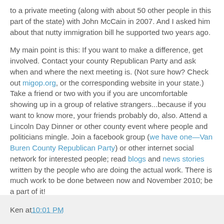to a private meeting (along with about 50 other people in this part of the state) with John McCain in 2007. And I asked him about that nutty immigration bill he supported two years ago.
My main point is this: If you want to make a difference, get involved. Contact your county Republican Party and ask when and where the next meeting is. (Not sure how? Check out migop.org, or the corresponding website in your state.) Take a friend or two with you if you are uncomfortable showing up in a group of relative strangers...because if you want to know more, your friends probably do, also. Attend a Lincoln Day Dinner or other county event where people and politicians mingle. Join a facebook group (we have one—Van Buren County Republican Party) or other internet social network for interested people; read blogs and news stories written by the people who are doing the actual work. There is much work to be done between now and November 2010; be a part of it!
Ken at 10:01 PM